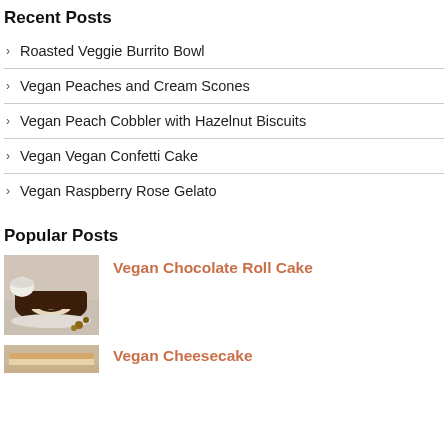Recent Posts
Roasted Veggie Burrito Bowl
Vegan Peaches and Cream Scones
Vegan Peach Cobbler with Hazelnut Biscuits
Vegan Vegan Confetti Cake
Vegan Raspberry Rose Gelato
Popular Posts
[Figure (photo): Chocolate roll cake sliced on a wooden board with cream filling visible, surrounded by props]
Vegan Chocolate Roll Cake
[Figure (photo): Vegan Cheesecake (partially visible at bottom)]
Vegan Cheesecake